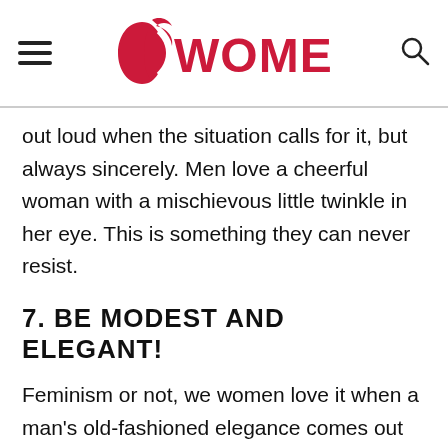[Figure (logo): Womenio logo with red crescent/face silhouette and SWOMENIO text in red]
out loud when the situation calls for it, but always sincerely. Men love a cheerful woman with a mischievous little twinkle in her eye. This is something they can never resist.
7. BE MODEST AND ELEGANT!
Feminism or not, we women love it when a man's old-fashioned elegance comes out once in a while and we can have a